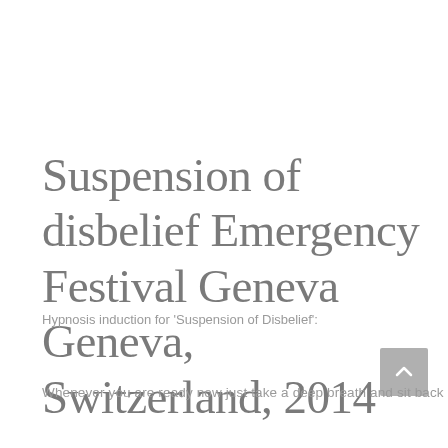Suspension of disbelief Emergency Festival Geneva Geneva, Switzerland, 2014
Hypnosis induction for 'Suspension of Disbelief':
Whenever you are ready now just take a deep breath and sit back in the arm chair and